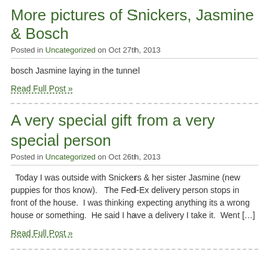More pictures of Snickers, Jasmine & Bosch
Posted in Uncategorized on Oct 27th, 2013
bosch Jasmine laying in the tunnel
Read Full Post »
A very special gift from a very special person
Posted in Uncategorized on Oct 26th, 2013
Today I was outside with Snickers & her sister Jasmine (new puppies for thos know).   The Fed-Ex delivery person stops in front of the house.  I was thinking expecting anything its a wrong house or something.  He said I have a delivery I take it.  Went […]
Read Full Post »